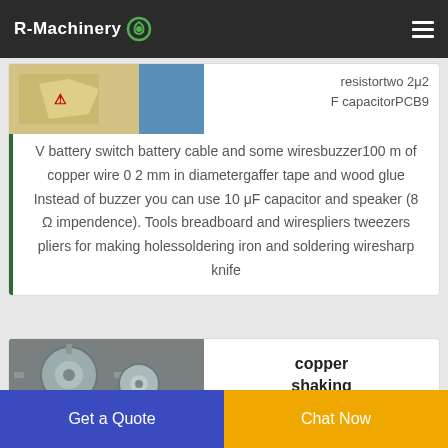R-Machinery
[Figure (photo): Partial view of a circuit/electronics component with yellow warning label and blue element]
resistortwo 2μ2 F capacitorPCB9 V battery switch battery cable and some wiresbuzzer100 m of copper wire 0 2 mm in diametergaffer tape and wood glue Instead of buzzer you can use 10 μF capacitor and speaker (8 Ω impendence). Tools breadboard and wirespliers tweezers pliers for making holessoldering iron and soldering wiresharp knife
[Figure (photo): Metal machinery parts, gears or cast metal components]
copper shaking
Get a Quote
Chat Now